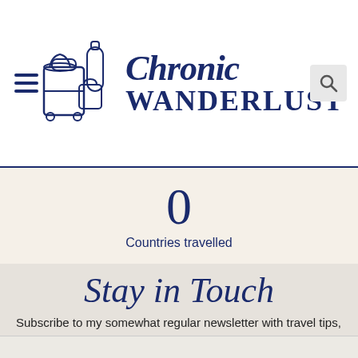Chronic Wanderlust
0
Countries travelled
Stay in Touch
Subscribe to my somewhat regular newsletter with travel tips, travel guides and all things wanderlust!
Email